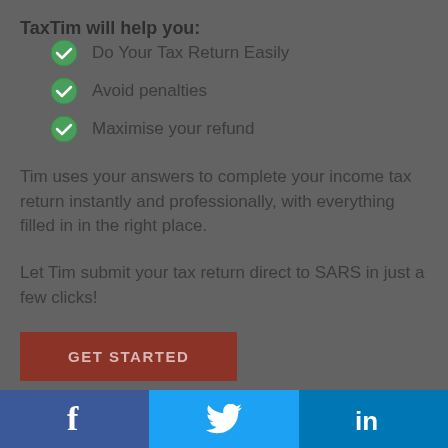TaxTim will help you:
Do Your Tax Return Easily
Avoid penalties
Maximise your refund
Tim uses your answers to complete your income tax return instantly and professionally, with everything filled in in the right place.
Let Tim submit your tax return direct to SARS in just a few clicks!
[Figure (other): GET STARTED button in dark red/brown color]
[Figure (other): Social media share bar with Facebook, Twitter, and LinkedIn icons]